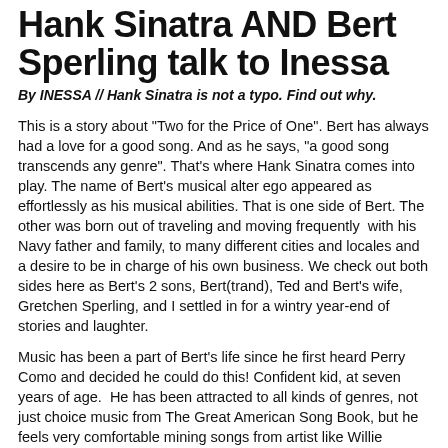Hank Sinatra AND Bert Sperling talk to Inessa
By INESSA // Hank Sinatra is not a typo. Find out why.
This is a story about "Two for the Price of One". Bert has always had a love for a good song. And as he says, "a good song transcends any genre". That's where Hank Sinatra comes into play. The name of Bert's musical alter ego appeared as effortlessly as his musical abilities. That is one side of Bert. The other was born out of traveling and moving frequently  with his Navy father and family, to many different cities and locales and a desire to be in charge of his own business. We check out both sides here as Bert's 2 sons, Bert(trand), Ted and Bert's wife, Gretchen Sperling, and I settled in for a wintry year-end of stories and laughter.
Music has been a part of Bert's life since he first heard Perry Como and decided he could do this! Confident kid, at seven years of age.  He has been attracted to all kinds of genres, not just choice music from The Great American Song Book, but he feels very comfortable mining songs from artist like Willie Nelson, Merle Haggard, Hank Williams, and naturally, Frank Sinatra!